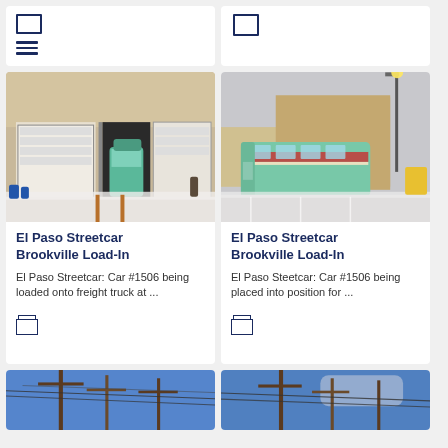[Figure (screenshot): Card with menu icon (hamburger lines and rectangle) at top left on white background]
[Figure (screenshot): Card with checkbox rectangle icon at top right on white background]
[Figure (photo): El Paso Streetcar Car #1506 being loaded onto freight truck at a warehouse with snow on ground, entering through large garage doors]
El Paso Streetcar Brookville Load-In
El Paso Streetcar: Car #1506 being loaded onto freight truck at ...
[Figure (photo): El Paso Streetcar Car #1506 being placed into position outside warehouse, with snow on ground]
El Paso Streetcar Brookville Load-In
El Paso Steetcar: Car #1506 being placed into position for ...
[Figure (photo): Utility poles and wires against blue sky, partial view at bottom of page]
[Figure (photo): Utility poles and wires against blue sky, partial view at bottom of page]